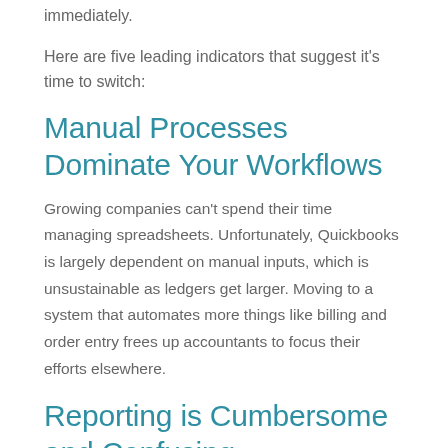immediately.
Here are five leading indicators that suggest it's time to switch:
Manual Processes Dominate Your Workflows
Growing companies can't spend their time managing spreadsheets. Unfortunately, Quickbooks is largely dependent on manual inputs, which is unsustainable as ledgers get larger. Moving to a system that automates more things like billing and order entry frees up accountants to focus their efforts elsewhere.
Reporting is Cumbersome and Confusing